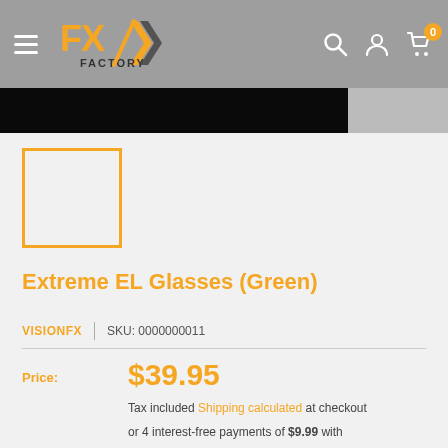FX Factory — navigation header with hamburger menu, logo, search icon, account icon, and cart (0 items)
[Figure (screenshot): Black product image banner strip at top of content area]
[Figure (photo): Empty orange-bordered product thumbnail image box]
Extreme EL Glasses (Green)
VISIONFX | SKU: 0000000011
Price: $39.95
Tax included Shipping calculated at checkout
or 4 interest-free payments of $9.99 with